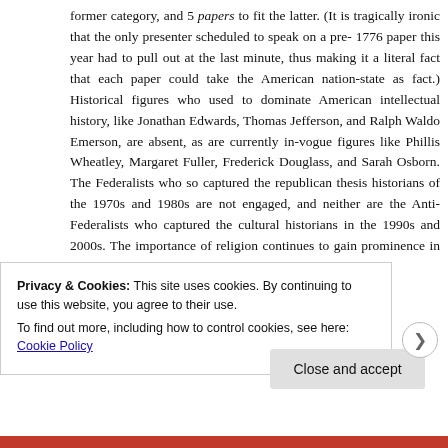former category, and 5 papers to fit the latter. (It is tragically ironic that the only presenter scheduled to speak on a pre-1776 paper this year had to pull out at the last minute, thus making it a literal fact that each paper could take the American nation-state as fact.) Historical figures who used to dominate American intellectual history, like Jonathan Edwards, Thomas Jefferson, and Ralph Waldo Emerson, are absent, as are currently in-vogue figures like Phillis Wheatley, Margaret Fuller, Frederick Douglass, and Sarah Osborn. The Federalists who so captured the republican thesis historians of the 1970s and 1980s are not engaged, and neither are the Anti-Federalists who captured the cultural historians in the 1990s and 2000s. The importance of religion continues to gain prominence in intellectual histories, as seen in this year's
Privacy & Cookies: This site uses cookies. By continuing to use this website, you agree to their use.
To find out more, including how to control cookies, see here: Cookie Policy
Close and accept